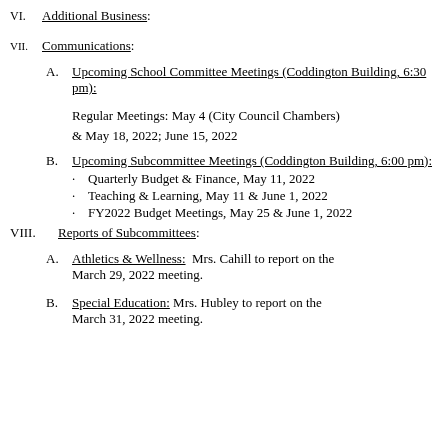VI. Additional Business:
VII. Communications:
A. Upcoming School Committee Meetings (Coddington Building, 6:30 pm):
Regular Meetings: May 4 (City Council Chambers) & May 18, 2022; June 15, 2022
B. Upcoming Subcommittee Meetings (Coddington Building, 6:00 pm):
Quarterly Budget & Finance, May 11, 2022
Teaching & Learning, May 11 & June 1, 2022
FY2022 Budget Meetings, May 25 & June 1, 2022
VIII. Reports of Subcommittees:
A. Athletics & Wellness: Mrs. Cahill to report on the March 29, 2022 meeting.
B. Special Education: Mrs. Hubley to report on the March 31, 2022 meeting.